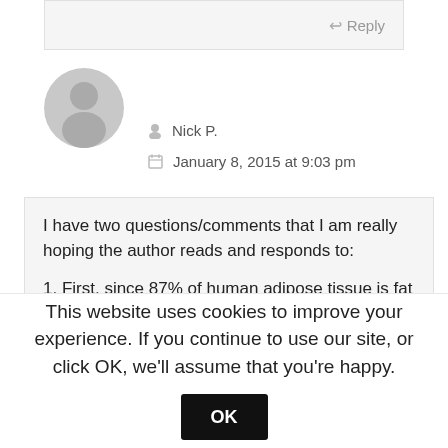Reply
[Figure (illustration): Gray circular avatar/profile placeholder icon]
Nick P.
January 8, 2015 at 9:03 pm
I have two questions/comments that I am really hoping the author reads and responds to:

1. First, since 87% of human adipose tissue is fat (we'll just assume that's a fact and forget about the variances as it doesn't matter to my question)
This website uses cookies to improve your experience. If you continue to use our site, or click OK, we'll assume that you're happy.